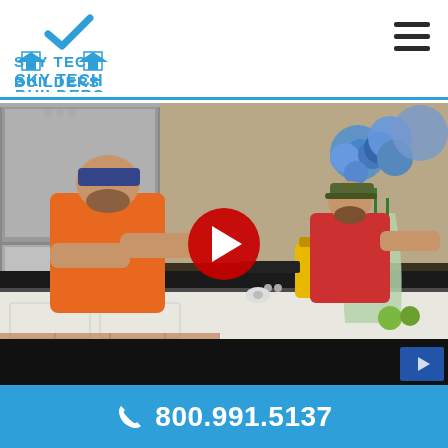[Figure (logo): Sky Tech Builders logo with house and checkmark icon in blue, text reads SKY TECH BUILDERS]
[Figure (screenshot): YouTube video thumbnail showing two workers installing countertops in a kitchen. A red YouTube play button is centered on the image. Blue hydrangea flowers in a glass vase are visible on the right side of the counter.]
800.991.5137